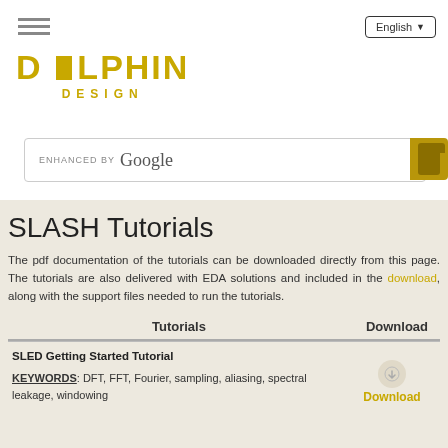[Figure (logo): Dolphin Design logo with golden/yellow text and hamburger menu icon]
[Figure (screenshot): Search bar with ENHANCED BY Google text and golden search button]
SLASH Tutorials
The pdf documentation of the tutorials can be downloaded directly from this page. The tutorials are also delivered with EDA solutions and included in the download, along with the support files needed to run the tutorials.
| Tutorials | Download |
| --- | --- |
| SLED Getting Started Tutorial

KEYWORDS: DFT, FFT, Fourier, sampling, aliasing, spectral leakage, windowing | Download |